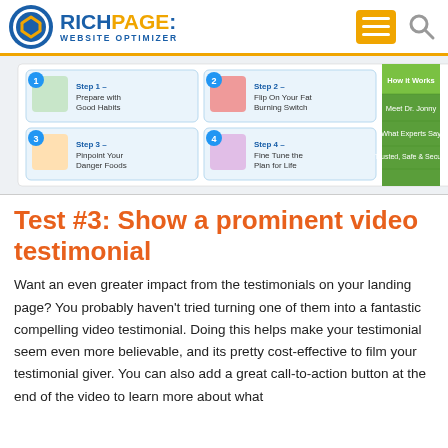RICHPAGE: WEBSITE OPTIMIZER
[Figure (screenshot): Screenshot of a diet/health website showing 4 steps: Step 1 - Prepare with Good Habits, Step 2 - Flip On Your Fat Burning Switch, Step 3 - Pinpoint Your Danger Foods, Step 4 - Fine Tune the Plan for Life. Right sidebar shows navigation: How it Works, Meet Dr. Jonny, What Experts Say, Trusted, Safe & Secure.]
Test #3: Show a prominent video testimonial
Want an even greater impact from the testimonials on your landing page? You probably haven't tried turning one of them into a fantastic compelling video testimonial. Doing this helps make your testimonial seem even more believable, and its pretty cost-effective to film your testimonial giver. You can also add a great call-to-action button at the end of the video to learn more about what